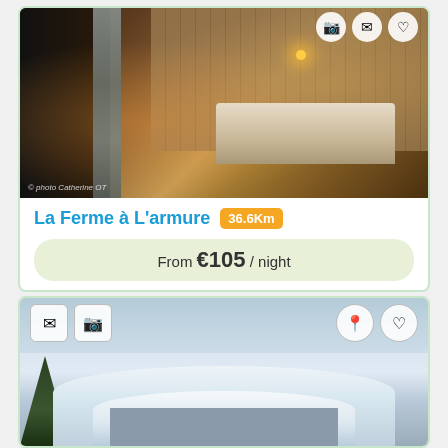[Figure (photo): Interior photo of a hotel room with warm lighting, wooden paneled walls, a canopy bed with white linens, and a chair. Dark drapes visible. Photo credit: © photo Catherine OT]
La Ferme à L'armure 36.6Km
From €105 / night
View Photos
Contact
[Figure (photo): Exterior photo of a chalet or farm building covered in snow, with snow-laden trees on the left and a pale winter sky.]